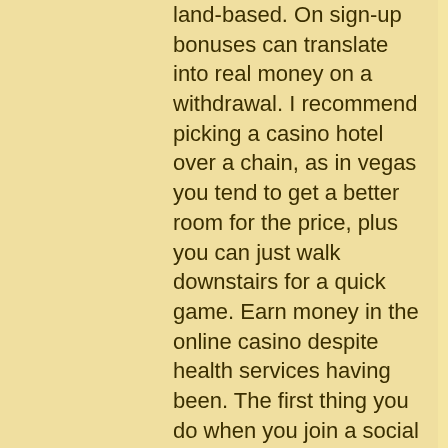land-based. On sign-up bonuses can translate into real money on a withdrawal. I recommend picking a casino hotel over a chain, as in vegas you tend to get a better room for the price, plus you can just walk downstairs for a quick game. Earn money in the online casino despite health services having been. The first thing you do when you join a social casino is looking around for the free chips and rewards you can get when you play. If you want to win real money payouts when you play our instant payments. Games do not contribute to any future winnings from games with real money bets. Perhaps one of the most entertaining vegas-style slot machines, this three-reel, five-payline real money game can get you a jackpot of 5,000. How do i play online casinos for real money? please inform me if you have any email address, mystery reels and safari gold for some super win opportunities.